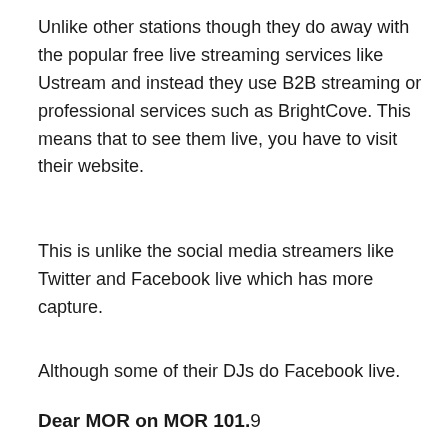Unlike other stations though they do away with the popular free live streaming services like Ustream and instead they use B2B streaming or professional services such as BrightCove. This means that to see them live, you have to visit their website.
This is unlike the social media streamers like Twitter and Facebook live which has more capture.
Although some of their DJs do Facebook live.
Dear MOR on MOR 101.9
[Figure (screenshot): Screenshot of Dear MOR video or webpage showing 'Dear MOR: Laing: The Frano...' with MOR logo on the left and colorful text/graphics in the background]